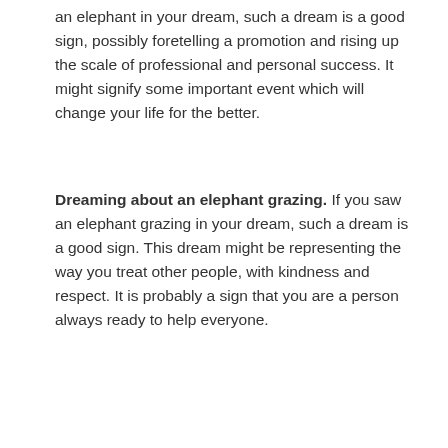an elephant in your dream, such a dream is a good sign, possibly foretelling a promotion and rising up the scale of professional and personal success. It might signify some important event which will change your life for the better.
Dreaming about an elephant grazing. If you saw an elephant grazing in your dream, such a dream is a good sign. This dream might be representing the way you treat other people, with kindness and respect. It is probably a sign that you are a person always ready to help everyone.